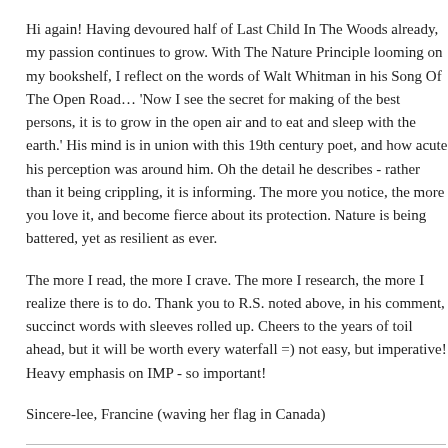Hi again!  Having devoured half of Last Child In The Woods already, my passion continues to grow.  With The Nature Principle looming on my bookshelf, I reflect on the words of Walt Whitman in his Song Of The Open Road… 'Now I see the secret for making of the best persons, it is to grow in the open air and to eat and sleep with the earth.' His mind is in union with this 19th century poet, and how acute his perception was around him.  Oh the detail he describes - rather than it being crippling, it is informing.  The more you notice, the more you love it, and become fierce about its protection.  Nature is being battered, yet as resilient as ever.
The more I read, the more I crave.  The more I research, the more I realize there is to do.  Thank you to R.S. noted above, in his comment, succinct words with sleeves rolled up.  Cheers to the years of toil ahead,  but it will be worth every waterfall =)  not easy, but imperative!  Heavy emphasis on IMP - so important!
Sincere-lee, Francine (waving her flag in Canada)
FROM JOHN THIELBAHR ON JUNE 06, 2011 :: 4:26 PM